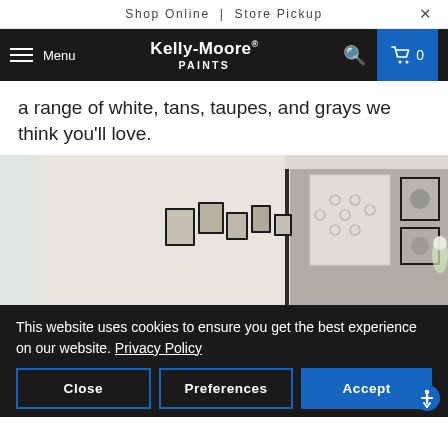Shop Online | Store Pickup
[Figure (screenshot): Kelly-Moore Paints navigation bar with menu, logo, search, and cart icons]
a range of white, tans, taupes, and grays we think you'll love.
[Figure (photo): Interior room photo showing walls painted in light gray/taupe tones with framed artwork gallery wall and mirror reflecting a styled room]
This website uses cookies to ensure you get the best experience on our website. Privacy Policy
Close   Preferences   Accept